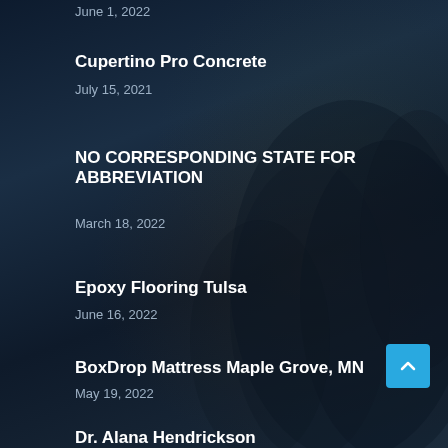June 1, 2022
Cupertino Pro Concrete
July 15, 2021
NO CORRESPONDING STATE FOR ABBREVIATION
March 18, 2022
Epoxy Flooring Tulsa
June 16, 2022
BoxDrop Mattress Maple Grove, MN
May 19, 2022
Dr. Alana Hendrickson